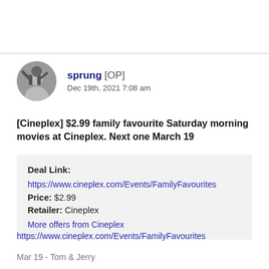sprung [OP]
Dec 19th, 2021 7:08 am
[Cineplex] $2.99 family favourite Saturday morning movies at Cineplex. Next one March 19
Deal Link:
https://www.cineplex.com/Events/FamilyFavourites
Price: $2.99
Retailer: Cineplex
More offers from Cineplex
https://www.cineplex.com/Events/FamilyFavourites
Mar 19 - Tom & Jerry